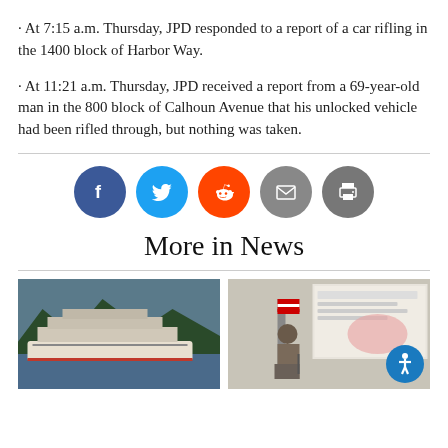· At 7:15 a.m. Thursday, JPD responded to a report of a car rifling in the 1400 block of Harbor Way.
· At 11:21 a.m. Thursday, JPD received a report from a 69-year-old man in the 800 block of Calhoun Avenue that his unlocked vehicle had been rifled through, but nothing was taken.
[Figure (infographic): Row of five social media sharing buttons: Facebook (blue), Twitter (light blue), Reddit (orange-red), Email (gray), Print (gray)]
More in News
[Figure (photo): Large cruise ship docked in a harbor surrounded by forested mountains]
[Figure (photo): A man presenting at a podium next to a large projection screen showing Alaska map content, with an American flag visible]